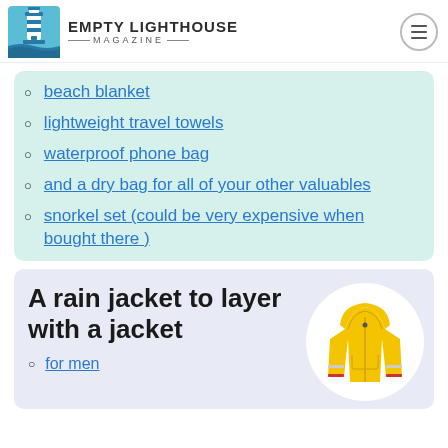Empty Lighthouse Magazine
beach blanket
lightweight travel towels
waterproof phone bag
and a dry bag for all of your other valuables
snorkel set (could be very expensive when bought there )
A rain jacket to layer with a jacket
for men
[Figure (photo): Yellow children's rain jacket with reflective strips and red lining, displayed on white circular background]